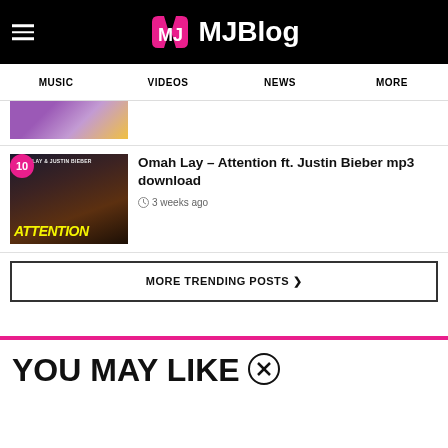MJBlog
MUSIC
VIDEOS
NEWS
MORE
[Figure (photo): Partial thumbnail of a colorful music-related image with purple tones]
[Figure (photo): Album cover for Omah Lay - Attention ft. Justin Bieber, dark background with two figures and yellow ATTENTION text]
Omah Lay – Attention ft. Justin Bieber mp3 download
3 weeks ago
MORE TRENDING POSTS ❯
YOU MAY LIKE